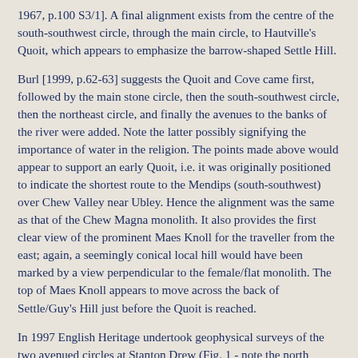1967, p.100 S3/1]. A final alignment exists from the centre of the south-southwest circle, through the main circle, to Hautville's Quoit, which appears to emphasize the barrow-shaped Settle Hill.
Burl [1999, p.62-63] suggests the Quoit and Cove came first, followed by the main stone circle, then the south-southwest circle, then the northeast circle, and finally the avenues to the banks of the river were added. Note the latter possibly signifying the importance of water in the religion. The points made above would appear to support an early Quoit, i.e. it was originally positioned to indicate the shortest route to the Mendips (south-southwest) over Chew Valley near Ubley. Hence the alignment was the same as that of the Chew Magna monolith. It also provides the first clear view of the prominent Maes Knoll for the traveller from the east; again, a seemingly conical local hill would have been marked by a view perpendicular to the female/flat monolith. The top of Maes Knoll appears to move across the back of Settle/Guy's Hill just before the Quoit is reached.
In 1997 English Heritage undertook geophysical surveys of the two avenued circles at Stanton Drew (Fig. 1 - note the north shown is in error by over ten degrees). The results indicated a 7m wide ditch previously surrounded the main circle, with a large opening to the northeast. Within the stone circle existed nine concentric rings of pits, ranging in diameters from about 23m to 95m, which